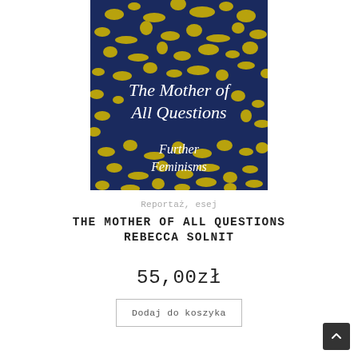[Figure (illustration): Book cover of 'The Mother of All Questions: Further Feminisms' by Rebecca Solnit. Dark navy blue background with yellow/gold paint splatter texture. White serif text reads 'The Mother of All Questions' and 'Further Feminisms'.]
Reportaż, esej
THE MOTHER OF ALL QUESTIONS
REBECCA SOLNIT
55,00zł
Dodaj do koszyka